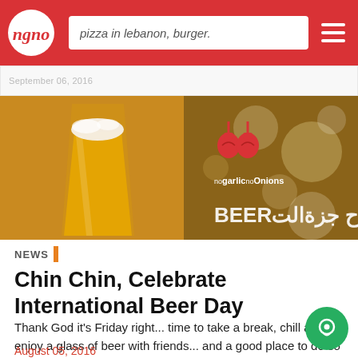ngno | pizza in lebanon, burger.
[Figure (photo): Hero image showing a glass of golden beer with foam on the left, and on the right a bokeh background with the nogarlic noOnions logo (two red garlic/onion icons) and text 'BEERح بزةالت' overlaid.]
NEWS
Chin Chin, Celebrate International Beer Day
Thank God it's Friday right... time to take a break, chill and enjoy a glass of beer with friends... and a good place to do so is with us in Tannourine. We're having a blast and want you to join i
August 05, 2016